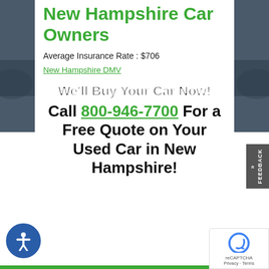New Hampshire Car Owners
Average Insurance Rate : $706
New Hampshire DMV
We'll Buy Your Car Now!
Call 800-946-7700 For a Free Quote on Your Used Car in New Hampshire!